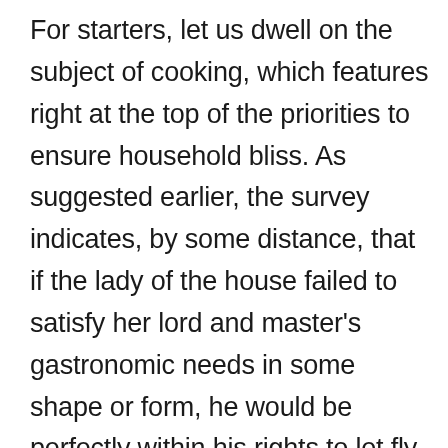For starters, let us dwell on the subject of cooking, which features right at the top of the priorities to ensure household bliss. As suggested earlier, the survey indicates, by some distance, that if the lady of the house failed to satisfy her lord and master's gastronomic needs in some shape or form, he would be perfectly within his rights to let fly, all guns blazing. WHACK! Why is the rice undercooked? THUMP! You call this oily, dripping thing fried chicken? SIZZLE! all the grease in the